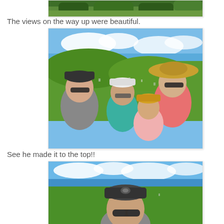[Figure (photo): Partial top photo showing green foliage/trees, cropped at top of page]
The views on the way up were beautiful.
[Figure (photo): Family selfie of four people (two adults, two children) on a hilltop with panoramic coastal view below, blue sky with clouds]
See he made it to the top!!
[Figure (photo): Man with dark cap and sunglasses taking selfie at hilltop with sweeping coastal/town view and ocean in background]